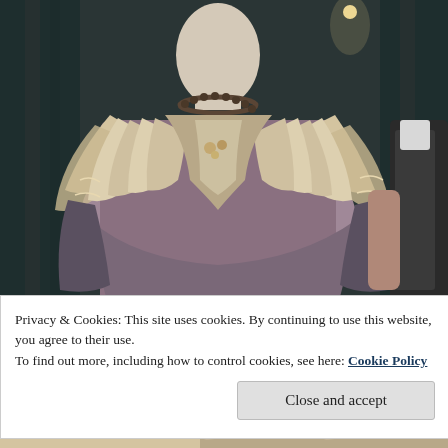[Figure (photo): Museum display of a historic mannequin wearing an elaborate Victorian-era beige/cream dress with large ruffled collar and decorative lace trim, a beaded necklace, and lavender-pink skirt. Dark curtain background. Partial view of another mannequin to the right.]
Privacy & Cookies: This site uses cookies. By continuing to use this website, you agree to their use.
To find out more, including how to control cookies, see here: Cookie Policy
[Figure (photo): Partial view of additional historic costume display at the bottom of the page.]